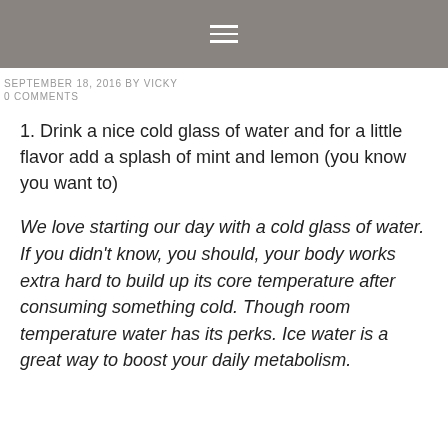≡
SEPTEMBER 18, 2016 BY VICKY
0 COMMENTS
1. Drink a nice cold glass of water and for a little flavor add a splash of mint and lemon (you know you want to)
We love starting our day with a cold glass of water. If you didn't know, you should, your body works extra hard to build up its core temperature after consuming something cold. Though room temperature water has its perks. Ice water is a great way to boost your daily metabolism.